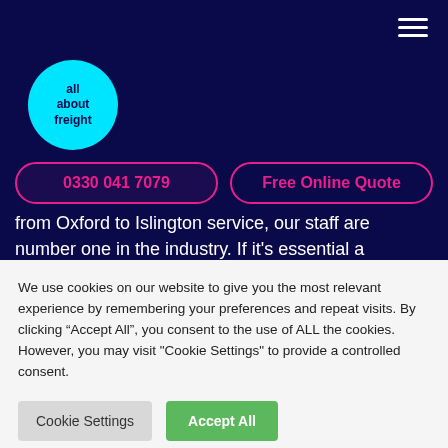[Figure (logo): All About Freight logo - cyan circle with dark navy text reading 'all about freight']
0330 041 7079
Free Online Quote
from Oxford to Islington service, our staff are number one in the industry. If it's essential a
We use cookies on our website to give you the most relevant experience by remembering your preferences and repeat visits. By clicking “Accept All”, you consent to the use of ALL the cookies. However, you may visit "Cookie Settings" to provide a controlled consent.
Cookie Settings
Accept All